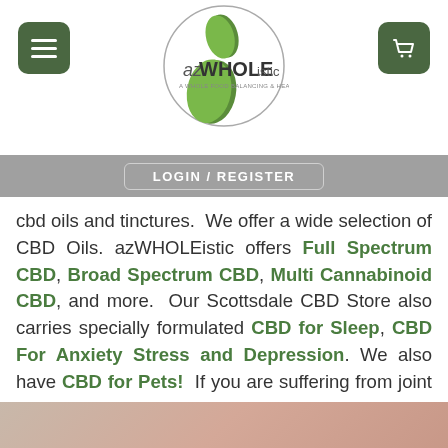azWHOLEistic — LOGIN / REGISTER
cbd oils and tinctures. We offer a wide selection of CBD Oils. azWHOLEistic offers Full Spectrum CBD, Broad Spectrum CBD, Multi Cannabinoid CBD, and more. Our Scottsdale CBD Store also carries specially formulated CBD for Sleep, CBD For Anxiety Stress and Depression. We also have CBD for Pets! If you are suffering from joint pain due to inflammation, no worries we carry CBD for Arthritis as well. If you are looking for the BEST CBD in or near Scottsdale AZ, look no further...Scottsdale CBD Dispensary has you covered!
[Figure (photo): Partial view of a person, warm skin tones visible at bottom of page]